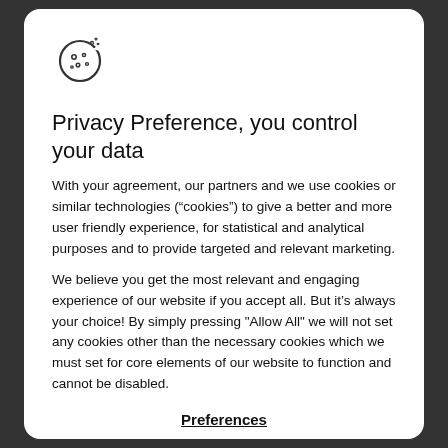[Figure (logo): Cookie icon — outline circle with small dots representing a cookie biscuit]
Privacy Preference, you control your data
With your agreement, our partners and we use cookies or similar technologies (“cookies”) to give a better and more user friendly experience, for statistical and analytical purposes and to provide targeted and relevant marketing.
We believe you get the most relevant and engaging experience of our website if you accept all. But it’s always your choice! By simply pressing "Allow All" we will not set any cookies other than the necessary cookies which we must set for core elements of our website to function and cannot be disabled.
Preferences